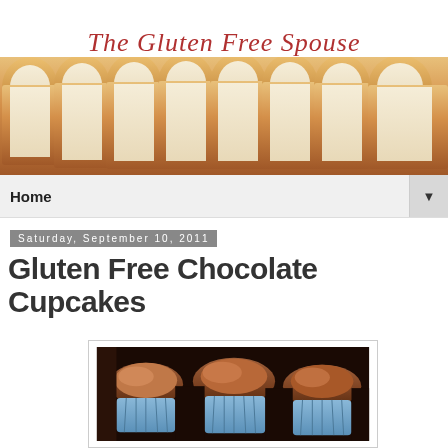The Gluten Free Spouse
Home
Saturday, September 10, 2011
Gluten Free Chocolate Cupcakes
[Figure (photo): Chocolate cupcakes with chocolate frosting in blue paper liners, close-up photo]